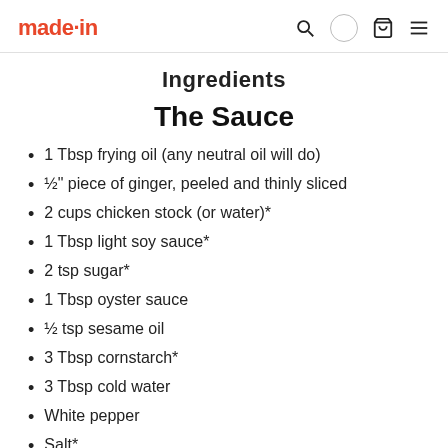made·in [navigation icons: search, account, cart, menu]
Ingredients
The Sauce
1 Tbsp frying oil (any neutral oil will do)
½" piece of ginger, peeled and thinly sliced
2 cups chicken stock (or water)*
1 Tbsp light soy sauce*
2 tsp sugar*
1 Tbsp oyster sauce
½ tsp sesame oil
3 Tbsp cornstarch*
3 Tbsp cold water
White pepper
Salt*